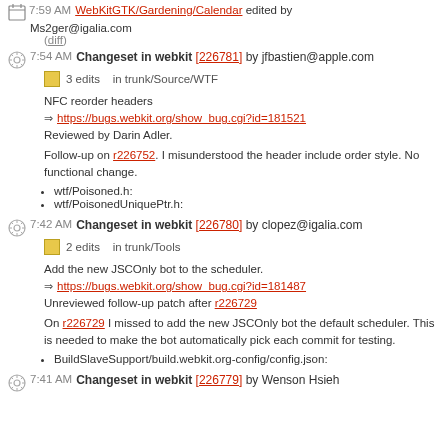7:59 AM WebKitGTK/Gardening/Calendar edited by Ms2ger@igalia.com (diff)
7:54 AM Changeset in webkit [226781] by jfbastien@apple.com
3 edits in trunk/Source/WTF
NFC reorder headers
https://bugs.webkit.org/show_bug.cgi?id=181521
Reviewed by Darin Adler.
Follow-up on r226752. I misunderstood the header include order style. No functional change.
wtf/Poisoned.h:
wtf/PoisonedUniquePtr.h:
7:42 AM Changeset in webkit [226780] by clopez@igalia.com
2 edits in trunk/Tools
Add the new JSCOnly bot to the scheduler.
https://bugs.webkit.org/show_bug.cgi?id=181487
Unreviewed follow-up patch after r226729
On r226729 I missed to add the new JSCOnly bot the default scheduler. This is needed to make the bot automatically pick each commit for testing.
BuildSlaveSupport/build.webkit.org-config/config.json:
7:41 AM Changeset in webkit [226779] by Wenson Hsieh